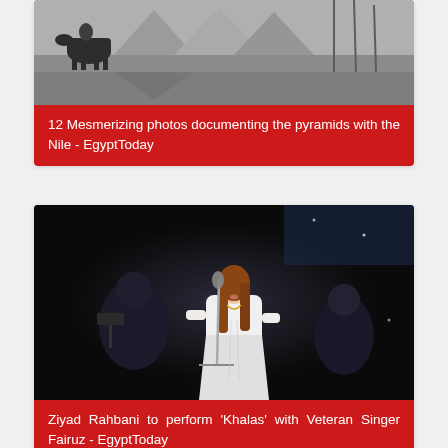[Figure (photo): Black and white photograph showing pyramids with the Nile, with a person on horseback in the foreground]
12 Mesmerizing photos documenting the pyramids with the Nile - EgyptToday
[Figure (photo): Color photograph of a woman in white dress performing on stage with a microphone, orchestra musicians visible in background]
Ziyad Rahbani to perform 'Khalas' with Veteran Singer Fairuz - EgyptToday